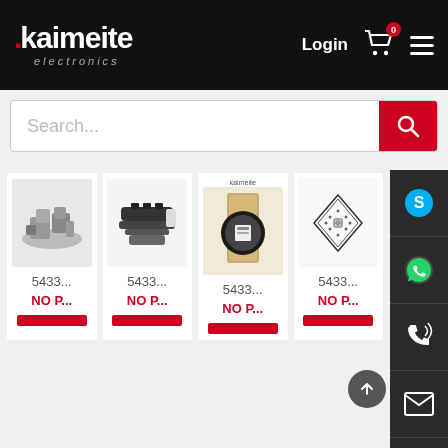[Figure (screenshot): Kaimeite Electronics e-commerce website header with logo, Login, cart with 0 badge, and hamburger menu on black background]
[Figure (screenshot): Search bar with placeholder text 'Search...' and red search button]
[Figure (screenshot): Product card 1 - grey pile of electronic components, code 5433..., NO P..., red button]
[Figure (screenshot): Product card 2 - black cable connector, code 5433..., NO P..., red button]
[Figure (screenshot): Product card 3 - LED strip reel in Kaimeite packaging, code 5433..., NO P..., red button]
[Figure (screenshot): Product card 4 - diamond/crystal shaped component, code 5433..., NO P..., red button]
[Figure (screenshot): Right sidebar with Skype, WhatsApp, phone, email icons and QR code on dark background]